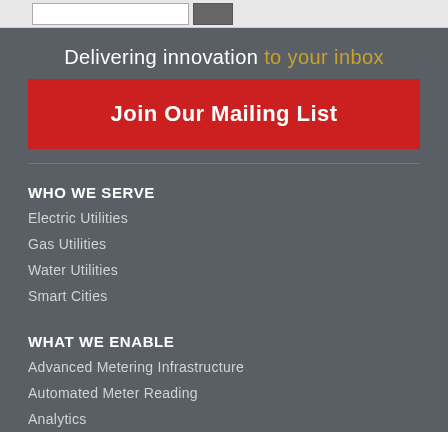Delivering innovation to your inbox
Join Our Mailing List
WHO WE SERVE
Electric Utilities
Gas Utilities
Water Utilities
Smart Cities
WHAT WE ENABLE
Advanced Metering Infrastructure
Automated Meter Reading
Analytics